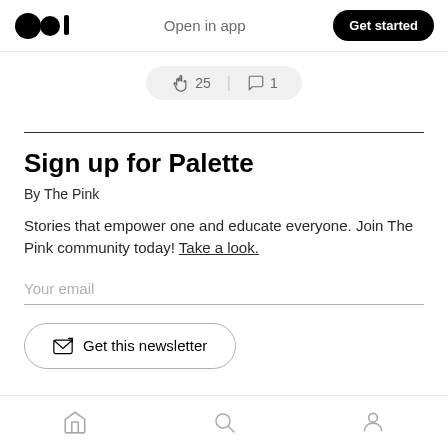Open in app  Get started
[Figure (screenshot): Clap and comment action bar showing clap icon with 25 and comment icon with 1]
Sign up for Palette
By The Pink
Stories that empower one and educate everyone. Join The Pink community today! Take a look.
Your email
Get this newsletter
By signing up, you will create a Medium account if you don't already have one
Home  Search  Profile